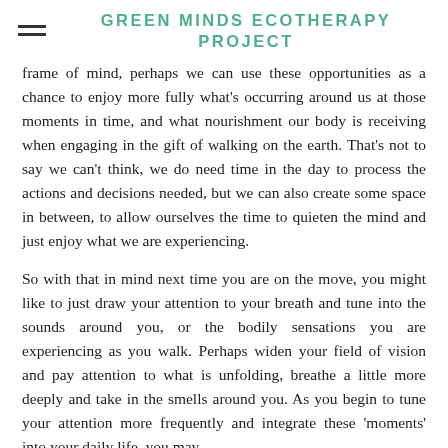GREEN MINDS ECOTHERAPY PROJECT
frame of mind, perhaps we can use these opportunities as a chance to enjoy more fully what's occurring around us at those moments in time, and what nourishment our body is receiving when engaging in the gift of walking on the earth. That's not to say we can't think, we do need time in the day to process the actions and decisions needed, but we can also create some space in between, to allow ourselves the time to quieten the mind and just enjoy what we are experiencing.
So with that in mind next time you are on the move, you might like to just draw your attention to your breath and tune into the sounds around you, or the bodily sensations you are experiencing as you walk. Perhaps widen your field of vision and pay attention to what is unfolding, breathe a little more deeply and take in the smells around you. As you begin to tune your attention more frequently and integrate these 'moments' into your daily life, you may